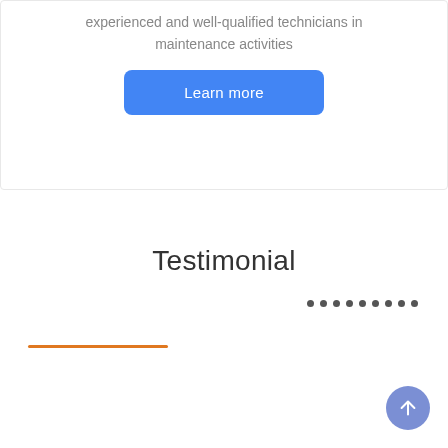experienced and well-qualified technicians in maintenance activities
Learn more
Testimonial
[Figure (other): Row of nine small dark dots used as a carousel or pagination indicator]
[Figure (other): Orange horizontal decorative line/divider]
[Figure (other): Blue circular back-to-top arrow button in bottom-right corner]